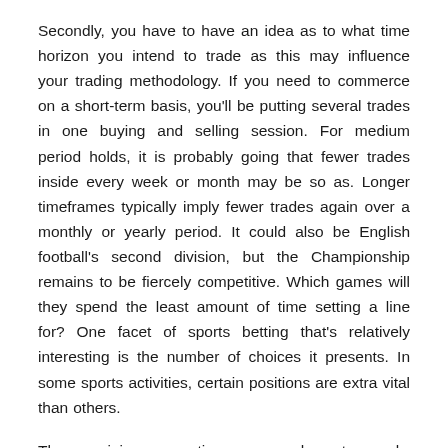Secondly, you have to have an idea as to what time horizon you intend to trade as this may influence your trading methodology. If you need to commerce on a short-term basis, you'll be putting several trades in one buying and selling session. For medium period holds, it is probably going that fewer trades inside every week or month may be so as. Longer timeframes typically imply fewer trades again over a monthly or yearly period. It could also be English football's second division, but the Championship remains to be fiercely competitive. Which games will they spend the least amount of time setting a line for? One facet of sports betting that's relatively interesting is the number of choices it presents. In some sports activities, certain positions are extra vital than others.
The remaining suggestions now we have to supply, listed beneath, are all a bit more simple. On Moneyline